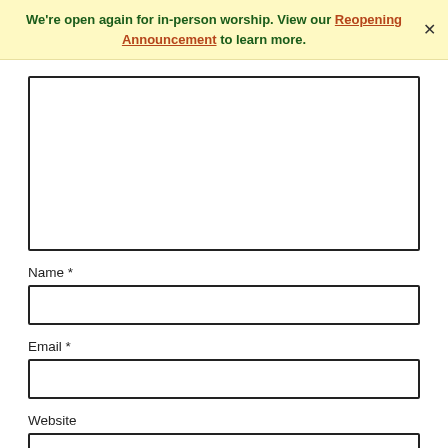We're open again for in-person worship. View our Reopening Announcement to learn more.
[Figure (other): Large empty textarea form field]
Name *
[Figure (other): Name text input field]
Email *
[Figure (other): Email text input field]
Website
[Figure (other): Website text input field (partially visible)]